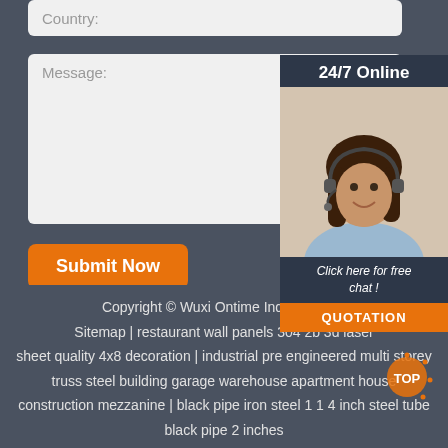Country:
Message:
Submit Now
[Figure (photo): 24/7 Online customer service representative - woman with headset smiling]
Click here for free chat !
QUOTATION
Copyright © Wuxi Ontime Industrial C... Sitemap | restaurant wall panels 304 2b 3d laser sheet quality 4x8 decoration | industrial pre engineered multi storey truss steel building garage warehouse apartment house construction mezzanine | black pipe iron steel 1 1 4 inch steel tube black pipe 2 inches